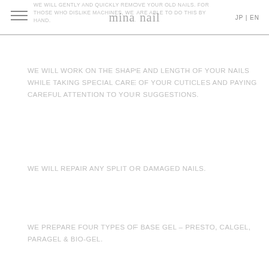WE WILL GENTLY AND QUICKLY REMOVE YOUR OLD NAILS. FOR THOSE WHO DISLIKE MACHINES, WE ARE ABLE TO DO THIS BY HAND. | mina nail | JP | EN
WE WILL WORK ON THE SHAPE AND LENGTH OF YOUR NAILS WHILE TAKING SPECIAL CARE OF YOUR CUTICLES AND PAYING CAREFUL ATTENTION TO YOUR SUGGESTIONS.
WE WILL REPAIR ANY SPLIT OR DAMAGED NAILS.
WE PREPARE FOUR TYPES OF BASE GEL – PRESTO, CALGEL, PARAGEL & BIO-GEL.